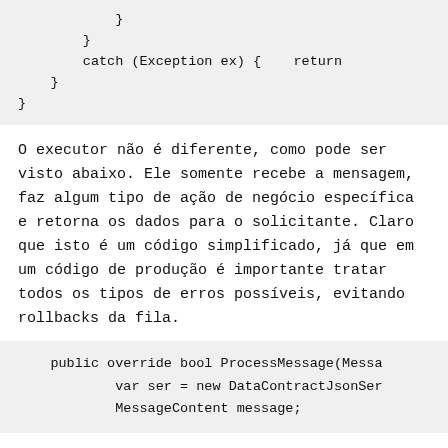}
        }
        catch (Exception ex) {    return
    }
}
O executor não é diferente, como pode ser visto abaixo. Ele somente recebe a mensagem, faz algum tipo de ação de negócio específica e retorna os dados para o solicitante. Claro que isto é um código simplificado, já que em um código de produção é importante tratar todos os tipos de erros possíveis, evitando rollbacks da fila.
public override bool ProcessMessage(Messa
        var ser = new DataContractJsonSer
        MessageContent message;